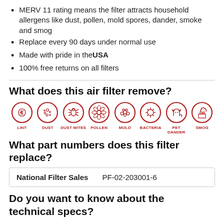MERV 11 rating means the filter attracts household allergens like dust, pollen, mold spores, dander, smoke and smog
Replace every 90 days under normal use
Made with pride in the USA
100% free returns on all filters
What does this air filter remove?
[Figure (infographic): Eight circular icons in red showing: LINT, DUST, DUST MITES, POLLEN, MOLD, BACTERIA, PET DANDER, SMOG]
What part numbers does this filter replace?
| Brand | Part Number |
| --- | --- |
| National Filter Sales | PF-02-203001-6 |
Do you want to know about the technical specs?